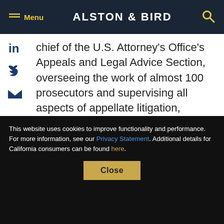Menu | ALSTON & BIRD
chief of the U.S. Attorney's Office's Appeals and Legal Advice Section, overseeing the work of almost 100 prosecutors and supervising all aspects of appellate litigation, including the filing of more than 650 briefs and 100 [mber rking ys and icitor the ues.
This website uses cookies to improve functionality and performance. For more information, see our Privacy Statement. Additional details for California consumers can be found here.
Close